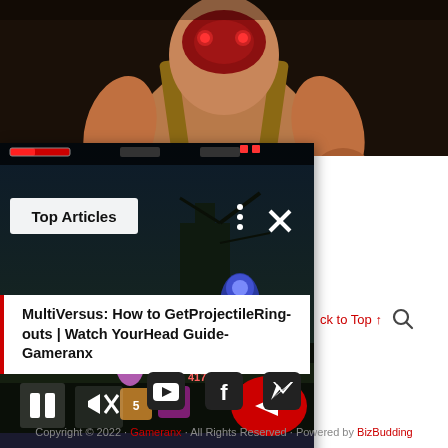[Figure (screenshot): Top portion of a game character (muscular figure with suspenders and a mask) on a dark background - cropped image]
[Figure (screenshot): Video player overlay showing a MultiVersus gameplay scene with dark fantasy environment. Contains Top Articles label, pause button, mute button, and a red arrow button. Red progress bar at top.]
MultiVersus: How to GetProjectileRing-outs | Watch YourHead Guide- Gameranx
ck to Top ↑
Copyright © 2022 · Gameranx · All Rights Reserved · Powered by BizBudding